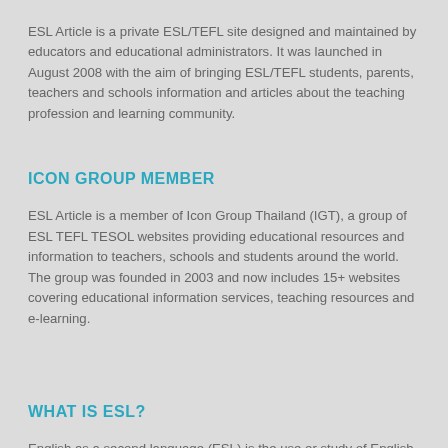ESL Article is a private ESL/TEFL site designed and maintained by educators and educational administrators. It was launched in August 2008 with the aim of bringing ESL/TEFL students, parents, teachers and schools information and articles about the teaching profession and learning community.
ICON GROUP MEMBER
ESL Article is a member of Icon Group Thailand (IGT), a group of ESL TEFL TESOL websites providing educational resources and information to teachers, schools and students around the world. The group was founded in 2003 and now includes 15+ websites covering educational information services, teaching resources and e-learning.
WHAT IS ESL?
English as a second language (ESL) is the use or study of English by speakers of different native languages. It is also known as English for speakers of other